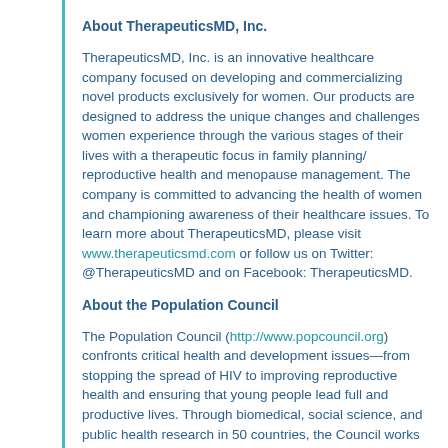About TherapeuticsMD, Inc.
TherapeuticsMD, Inc. is an innovative healthcare company focused on developing and commercializing novel products exclusively for women. Our products are designed to address the unique changes and challenges women experience through the various stages of their lives with a therapeutic focus in family planning/ reproductive health and menopause management. The company is committed to advancing the health of women and championing awareness of their healthcare issues. To learn more about TherapeuticsMD, please visit www.therapeuticsmd.com or follow us on Twitter: @TherapeuticsMD and on Facebook: TherapeuticsMD.
About the Population Council
The Population Council (http://www.popcouncil.org) confronts critical health and development issues—from stopping the spread of HIV to improving reproductive health and ensuring that young people lead full and productive lives. Through biomedical, social science, and public health research in 50 countries, the Council works with partners to deliver solutions that lead to more effective policies, programs, and